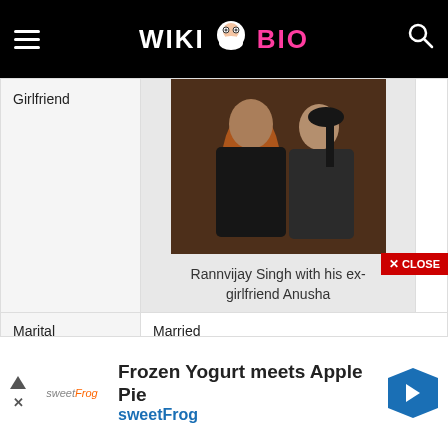WIKI BIO
| Label | Value |
| --- | --- |
| Girlfriend | Rannvijay Singh with his ex-girlfriend Anusha [photo] |
| Marital Status | Married |
|  | Priyanka Vohra |
[Figure (photo): Rannvijay Singh with his ex-girlfriend Anusha]
Rannvijay Singh with his ex-girlfriend Anusha
Frozen Yogurt meets Apple Pie sweetFrog